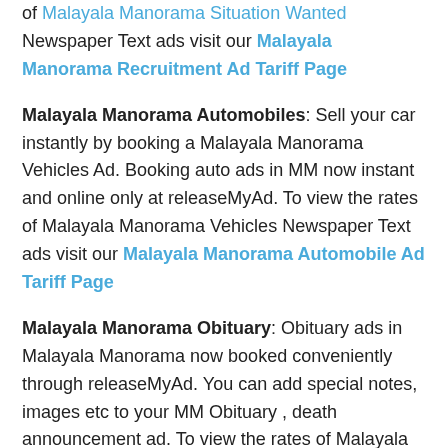of Malayala Manorama Situation Wanted Newspaper Text ads visit our Malayala Manorama Recruitment Ad Tariff Page
Malayala Manorama Automobiles: Sell your car instantly by booking a Malayala Manorama Vehicles Ad. Booking auto ads in MM now instant and online only at releaseMyAd. To view the rates of Malayala Manorama Vehicles Newspaper Text ads visit our Malayala Manorama Automobile Ad Tariff Page
Malayala Manorama Obituary: Obituary ads in Malayala Manorama now booked conveniently through releaseMyAd. You can add special notes, images etc to your MM Obituary , death announcement ad. To view the rates of Malayala Manorama Obituary /Classifieds Remembrance Newspaper Text ads visit our Malayala Manorama Obituary Ad Tariff Page